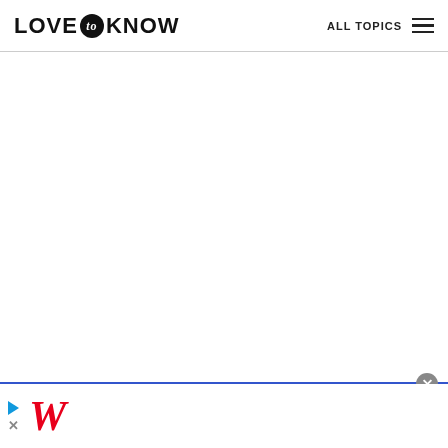LOVE to KNOW | ALL TOPICS
[Figure (screenshot): Large blank white content area below the navigation header]
[Figure (screenshot): Advertisement banner at bottom of page: Walgreens ad with stylized red W logo, play/close icon, and blue diamond navigation icon on right. Close (x) button in grey circle at top-right of ad.]